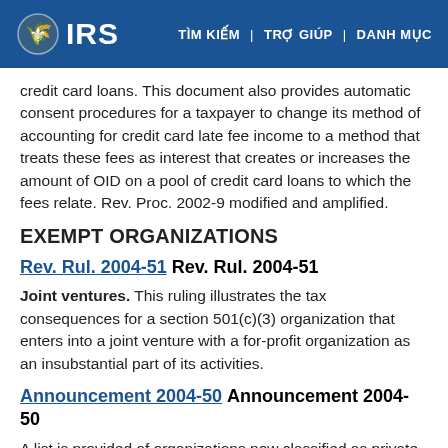IRS | TÌM KIẾM | TRỢ GIÚP | DANH MỤC
credit card loans. This document also provides automatic consent procedures for a taxpayer to change its method of accounting for credit card late fee income to a method that treats these fees as interest that creates or increases the amount of OID on a pool of credit card loans to which the fees relate. Rev. Proc. 2002-9 modified and amplified.
EXEMPT ORGANIZATIONS
Rev. Rul. 2004-51 Rev. Rul. 2004-51
Joint ventures. This ruling illustrates the tax consequences for a section 501(c)(3) organization that enters into a joint venture with a for-profit organization as an insubstantial part of its activities.
Announcement 2004-50 Announcement 2004-50
A list is provided of organizations now classified as private foundations.